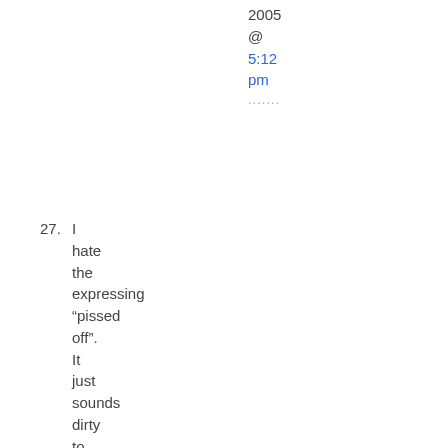2005
@
5:12
pm
.......
27. I hate the expressing “pissed off”. It just sounds dirty to me. I do like to say fart and crap though.